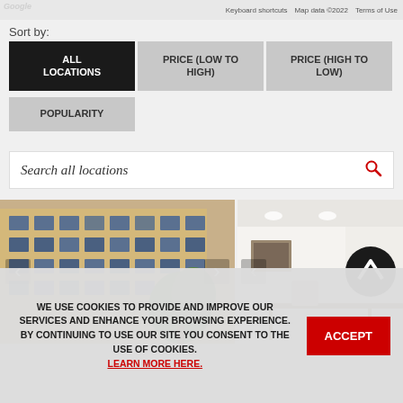Keyboard shortcuts   Map data ©2022   Terms of Use
Sort by:
ALL LOCATIONS
PRICE (LOW TO HIGH)
PRICE (HIGH TO LOW)
POPULARITY
Search all locations
[Figure (photo): Exterior photo of a multi-story beige stone office/commercial building with many windows and trees]
[Figure (photo): Interior photo of a modern office meeting room with white ceiling, recessed lighting, framed artwork and a conference table]
WE USE COOKIES TO PROVIDE AND IMPROVE OUR SERVICES AND ENHANCE YOUR BROWSING EXPERIENCE. BY CONTINUING TO USE OUR SITE YOU CONSENT TO THE USE OF COOKIES. LEARN MORE HERE.